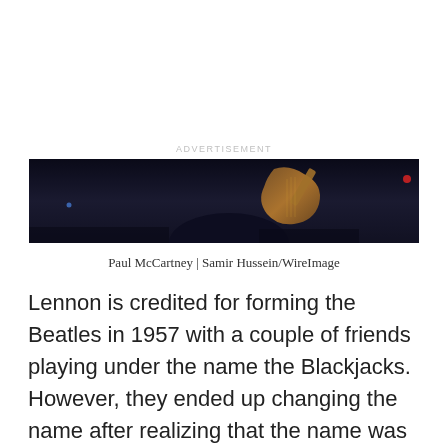ADVERTISEMENT
[Figure (photo): Dark photograph of Paul McCartney holding a guitar on stage, partially visible in low light]
Paul McCartney | Samir Hussein/WireImage
Lennon is credited for forming the Beatles in 1957 with a couple of friends playing under the name the Blackjacks. However, they ended up changing the name after realizing that the name was already in use by another band.
ADVERTISEMENT